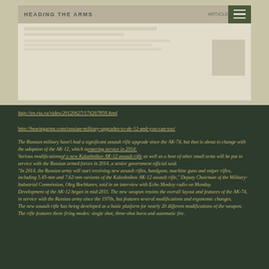[Figure (screenshot): Screenshot of a webpage with a dark olive/military themed header bar with bold text and a hamburger menu icon on the right side. The main body area shows a beige/cream colored document page.]
http://en.ria.ru/video/20120627/174267858.html
http://bearingarms.com/russian-military-upgrades-to-ak-12-and-you-can-too/
The Russian military hasn't had a significant assault rifle upgrade since the AK-74, but that is about to change with the adoption of the AK-12, which is entering service in 2014:
Various modifications of a new Kalashnikov AK-12 assault rifle as well as a host of other small arms will be put in service with the Russian armed forces in 2014, a senior government official said.
"In 2014, the Russian army will start receiving new assault rifles, handguns, machine guns and sniper rifles, including 5.45-mm and 7.62-mm variants of the Kalashnikov AK-12 assault rifle," Deputy Chairman of the Military-Industrial Commission, Oleg Bochkarev, said in an interview with Echo Moskvy radio on Monday.
Development of the AK-12 began in mid-2011. The new weapon retains the overall layout and features of the AK-74, in service with the Russian army since the 1970s, but features several modifications and ergonomic changes.
The new assault rifle has being developed as a basic platform for nearly 20 different modifications of the weapon.
The rifle features three firing modes: single shot, three-shot burst and automatic fire.